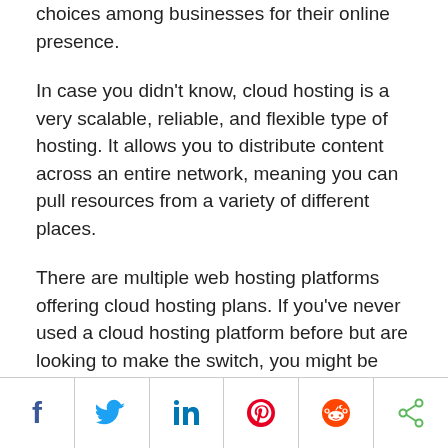choices among businesses for their online presence.
In case you didn't know, cloud hosting is a very scalable, reliable, and flexible type of hosting. It allows you to distribute content across an entire network, meaning you can pull resources from a variety of different places.
There are multiple web hosting platforms offering cloud hosting plans. If you've never used a cloud hosting platform before but are looking to make the switch, you might be wondering, “Which platform is the best for me?” and without a doubt, we can say the answer is Cloudways.
If you're not sure if Cloudways is the right managed WP
[Figure (infographic): Social sharing bar with six icons: Facebook (blue f), Twitter (blue bird), LinkedIn (blue 'in'), Pinterest (red circle with P), Reddit (orange alien), Share (green share icon)]